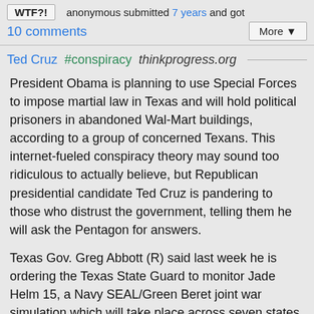WTF?! anonymous submitted 7 years and got
10 comments
More ▼
Ted Cruz  #conspiracy  thinkprogress.org
President Obama is planning to use Special Forces to impose martial law in Texas and will hold political prisoners in abandoned Wal-Mart buildings, according to a group of concerned Texans. This internet-fueled conspiracy theory may sound too ridiculous to actually believe, but Republican presidential candidate Ted Cruz is pandering to those who distrust the government, telling them he will ask the Pentagon for answers.
Texas Gov. Greg Abbott (R) said last week he is ordering the Texas State Guard to monitor Jade Helm 15, a Navy SEAL/Green Beret joint war simulation which will take place across seven states beginning this summer. The